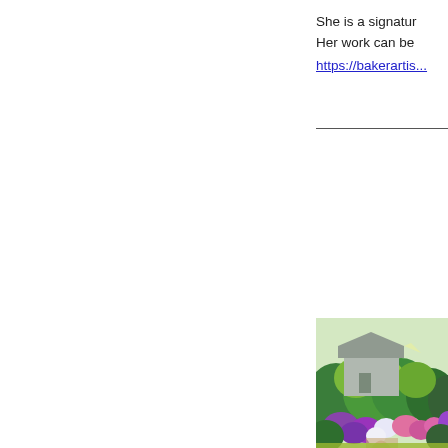She is a signatur Her work can be https://bakerartis...
[Figure (illustration): Watercolor painting of a small grey house surrounded by lush green bushes and colorful purple, white, and pink flowers in a garden setting]